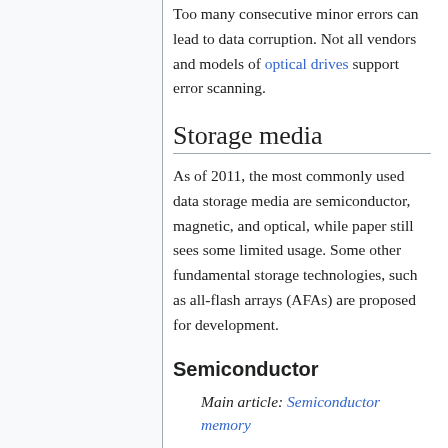Too many consecutive minor errors can lead to data corruption. Not all vendors and models of optical drives support error scanning.
Storage media
As of 2011, the most commonly used data storage media are semiconductor, magnetic, and optical, while paper still sees some limited usage. Some other fundamental storage technologies, such as all-flash arrays (AFAs) are proposed for development.
Semiconductor
Main article: Semiconductor memory
Semiconductor memory uses semiconductor-based integrated circuit (IC) chips to store information. Data are typically stored in metal–oxide–